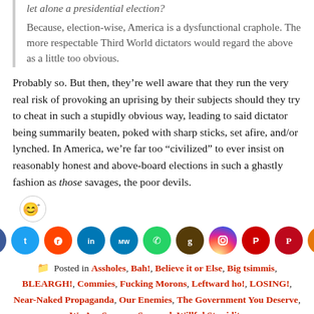let alone a presidential election?
Because, election-wise, America is a dysfunctional craphole. The more respectable Third World dictators would regard the above as a little too obvious.
Probably so. But then, they’re well aware that they run the very real risk of provoking an uprising by their subjects should they try to cheat in such a stupidly obvious way, leading to said dictator being summarily beaten, poked with sharp sticks, set afire, and/or lynched. In America, we’re far too “civilized” to ever insist on reasonably honest and above-board elections in such a ghastly fashion as those savages, the poor devils.
[Figure (infographic): Emoji reaction icon (smiley with plus sign)]
[Figure (infographic): Row of social media sharing icons: Facebook, Twitter, Reddit, LinkedIn, MeWe, WhatsApp, Goodreads, Instagram, Parler, Pinterest, Share]
Posted in Assholes, Bah!, Believe it or Else, Big tsimmis, BLEARGH!, Commies, Fucking Morons, Leftward ho!, LOSING!, Near-Naked Propaganda, Our Enemies, The Government You Deserve, We Are Soooooo Screwed, Willful Stupidity